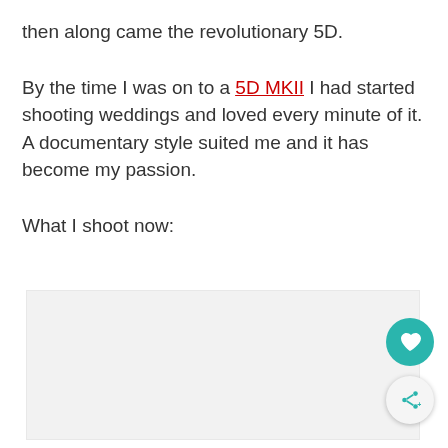then along came the revolutionary 5D.
By the time I was on to a 5D MKII I had started shooting weddings and loved every minute of it. A documentary style suited me and it has become my passion.
What I shoot now:
[Figure (other): Light gray placeholder rectangle, likely an image or embedded content area]